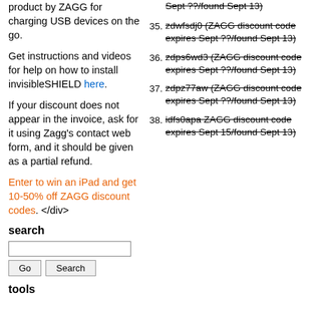product by ZAGG for charging USB devices on the go.
Get instructions and videos for help on how to install invisibleSHIELD here.
If your discount does not appear in the invoice, ask for it using Zagg's contact web form, and it should be given as a partial refund.
Enter to win an iPad and get 10-50% off ZAGG discount codes. </div>
search
[search input field] Go  Search
tools
zdwfsdj0 (ZAGG discount code expires Sept ??/found Sept 13)
zdps6wd3 (ZAGG discount code expires Sept ??/found Sept 13)
zdpz77aw (ZAGG discount code expires Sept ??/found Sept 13)
idfs0apa ZAGG discount code expires Sept 15/found Sept 13)